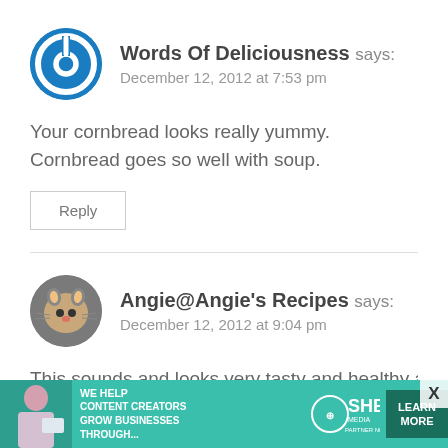[Figure (logo): Blue circular power button icon avatar for Words Of Deliciousness]
Words Of Deliciousness says:
December 12, 2012 at 7:53 pm
Your cornbread looks really yummy. Cornbread goes so well with soup.
Reply
[Figure (photo): Small circular avatar photo of a cat for Angie@Angie's Recipes]
Angie@Angie's Recipes says:
December 12, 2012 at 9:04 pm
This sounds and looks very tasty and healthy as w
[Figure (infographic): SHE Media partner network advertisement banner: WE HELP CONTENT CREATORS GROW BUSINESSES THROUGH... with LEARN MORE button]